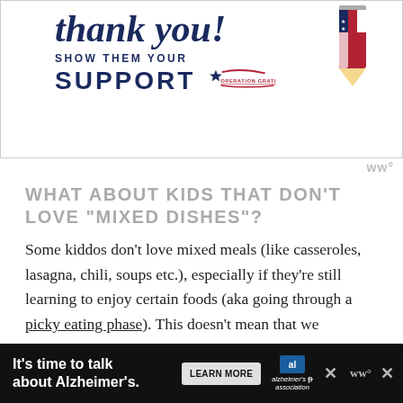[Figure (illustration): Advertisement banner: 'Thank you! Show them your Support – Operation Gratitude' with a decorative pencil graphic in red, white, and blue]
WHAT ABOUT KIDS THAT DON'T LOVE "MIXED DISHES"?
Some kiddos don't love mixed meals (like casseroles, lasagna, chili, soups etc.), especially if they're still learning to enjoy certain foods (aka going through a picky eating phase). This doesn't mean that we shouldn't serve them though, because they need multiple positive exposures in order to
[Figure (illustration): Bottom advertisement banner: 'It's time to talk about Alzheimer's.' with a Learn More button and Alzheimer's Association logo]